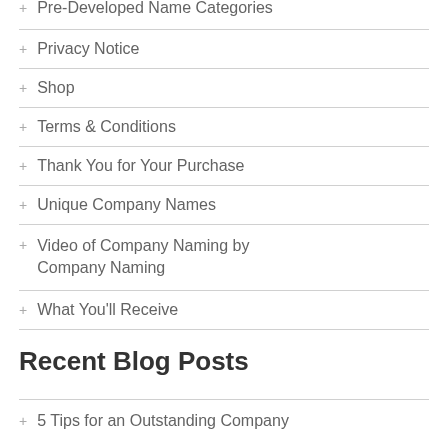+ Pre-Developed Name Categories
+ Privacy Notice
+ Shop
+ Terms & Conditions
+ Thank You for Your Purchase
+ Unique Company Names
+ Video of Company Naming by Company Naming
+ What You'll Receive
Recent Blog Posts
+ 5 Tips for an Outstanding Company